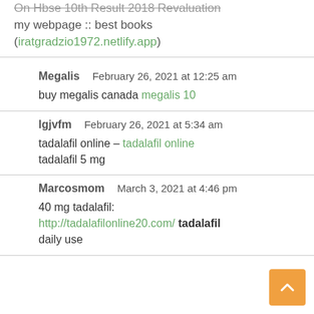On Hbse 10th Result 2018 Revaluation
my webpage :: best books (iratgradzio1972.netlify.app)
Megalis  February 26, 2021 at 12:25 am
buy megalis canada megalis 10
lgjvfm  February 26, 2021 at 5:34 am
tadalafil online – tadalafil online tadalafil 5 mg
Marcosmom  March 3, 2021 at 4:46 pm
40 mg tadalafil: http://tadalafilonline20.com/ tadalafil daily use